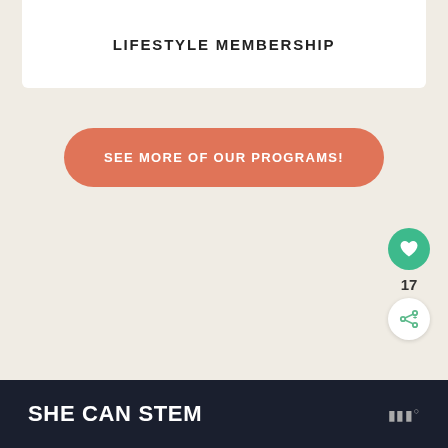LIFESTYLE MEMBERSHIP
SEE MORE OF OUR PROGRAMS!
17
SHE CAN STEM